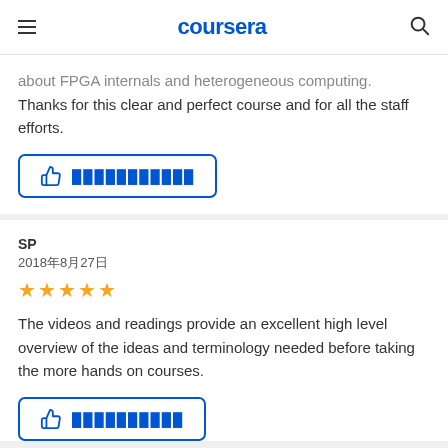coursera
about FPGA internals and heterogeneous computing. Thanks for this clear and perfect course and for all the staff efforts.
[Figure (other): Thumbs up helpful button with redacted text, blue border button]
SP
2018年8月27日
[Figure (other): 5 gold star rating]
The videos and readings provide an excellent high level overview of the ideas and terminology needed before taking the more hands on courses.
[Figure (other): Thumbs up helpful button with redacted text, blue border button, partially visible]